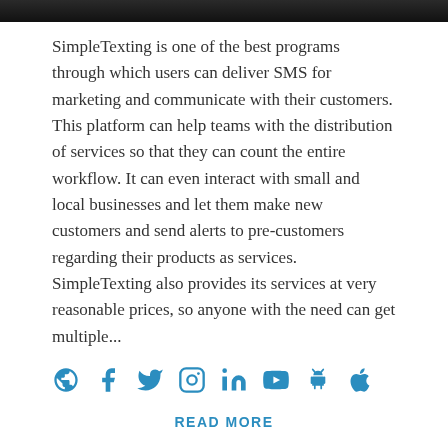[Figure (photo): Dark banner image at the top of the page]
SimpleTexting is one of the best programs through which users can deliver SMS for marketing and communicate with their customers. This platform can help teams with the distribution of services so that they can count the entire workflow. It can even interact with small and local businesses and let them make new customers and send alerts to pre-customers regarding their products as services. SimpleTexting also provides its services at very reasonable prices, so anyone with the need can get multiple...
[Figure (infographic): Social media icons row: globe, Facebook, Twitter, Instagram, LinkedIn, YouTube, Android, Apple — all in blue]
READ MORE
6. Clearstream